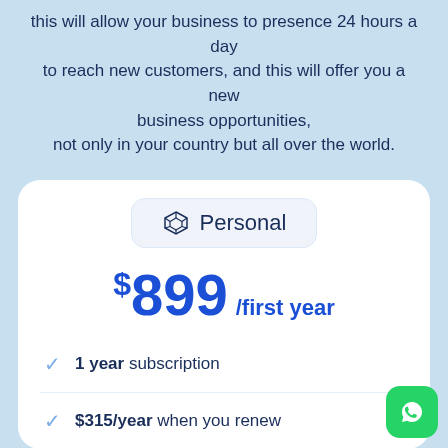this will allow your business to presence 24 hours a day to reach new customers, and this will offer you a new business opportunities, not only in your country but all over the world.
Personal
$899 /first year
1 year subscription
$315/year when you renew